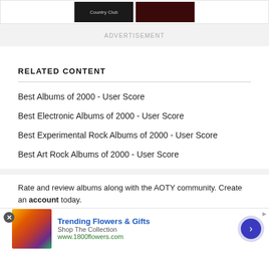[Figure (screenshot): Two album cover thumbnails shown at top]
ADVERTISEMENT
RELATED CONTENT
Best Albums of 2000 - User Score
Best Electronic Albums of 2000 - User Score
Best Experimental Rock Albums of 2000 - User Score
Best Art Rock Albums of 2000 - User Score
Rate and review albums along with the AOTY community. Create an account today.
[Figure (screenshot): Advertisement banner for 1800flowers.com - Trending Flowers & Gifts, Shop The Collection, www.1800flowers.com, with flower photo and arrow button]